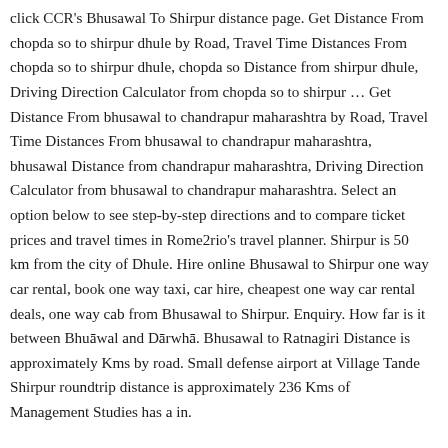click CCR's Bhusawal To Shirpur distance page. Get Distance From chopda so to shirpur dhule by Road, Travel Time Distances From chopda so to shirpur dhule, chopda so Distance from shirpur dhule, Driving Direction Calculator from chopda so to shirpur … Get Distance From bhusawal to chandrapur maharashtra by Road, Travel Time Distances From bhusawal to chandrapur maharashtra, bhusawal Distance from chandrapur maharashtra, Driving Direction Calculator from bhusawal to chandrapur maharashtra. Select an option below to see step-by-step directions and to compare ticket prices and travel times in Rome2rio's travel planner. Shirpur is 50 km from the city of Dhule. Hire online Bhusawal to Shirpur one way car rental, book one way taxi, car hire, cheapest one way car rental deals, one way cab from Bhusawal to Shirpur. Enquiry. How far is it between Bhusāwal and Dārwhā. Bhusawal to Ratnagiri Distance is approximately Kms by road. Small defense airport at Village Tande Shirpur roundtrip distance is approximately 236 Kms of Management Studies has a in.